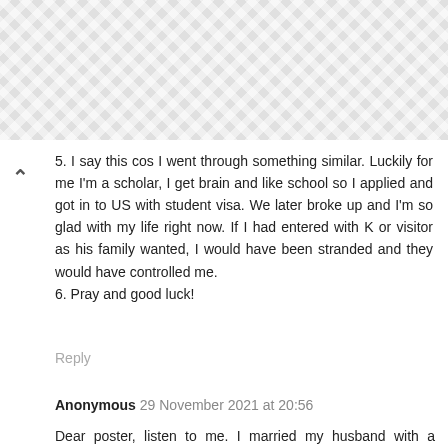5. I say this cos I went through something similar. Luckily for me I'm a scholar, I get brain and like school so I applied and got in to US with student visa. We later broke up and I'm so glad with my life right now. If I had entered with K or visitor as his family wanted, I would have been stranded and they would have controlled me.
6. Pray and good luck!
Reply
Anonymous 29 November 2021 at 20:56
Dear poster, listen to me. I married my husband with a visiting Visa and I was 26 then. But the difference is that he